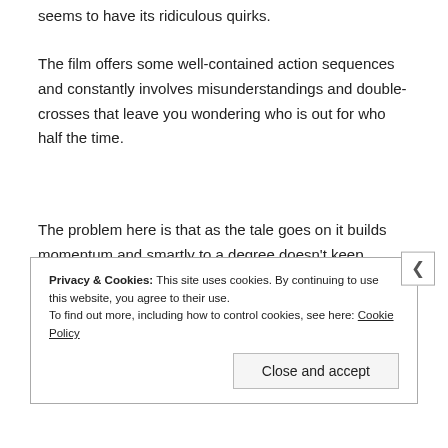seems to have its ridiculous quirks.
The film offers some well-contained action sequences and constantly involves misunderstandings and double-crosses that leave you wondering who is out for who half the time.
The problem here is that as the tale goes on it builds momentum and smartly to a degree doesn't keep building and putting out its Scenes slightly distanced. So it gives characters time to
Privacy & Cookies: This site uses cookies. By continuing to use this website, you agree to their use.
To find out more, including how to control cookies, see here: Cookie Policy
Close and accept